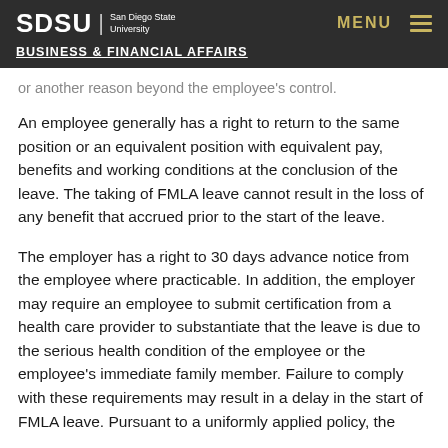SDSU | San Diego State University — BUSINESS & FINANCIAL AFFAIRS — MENU
or another reason beyond the employee's control.
An employee generally has a right to return to the same position or an equivalent position with equivalent pay, benefits and working conditions at the conclusion of the leave. The taking of FMLA leave cannot result in the loss of any benefit that accrued prior to the start of the leave.
The employer has a right to 30 days advance notice from the employee where practicable. In addition, the employer may require an employee to submit certification from a health care provider to substantiate that the leave is due to the serious health condition of the employee or the employee's immediate family member. Failure to comply with these requirements may result in a delay in the start of FMLA leave. Pursuant to a uniformly applied policy, the